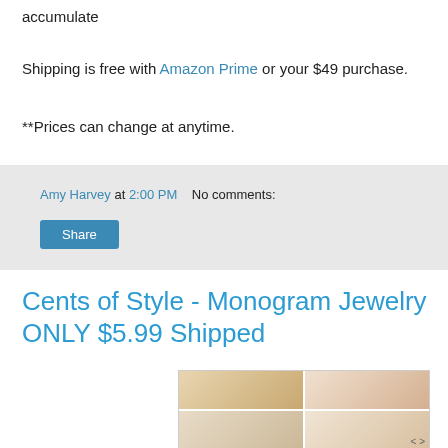accumulate
Shipping is free with Amazon Prime or your $49 purchase.
**Prices can change at anytime.
Amy Harvey at 2:00 PM   No comments:
Share
Cents of Style - Monogram Jewelry ONLY $5.99 Shipped
[Figure (photo): 4-photo grid collage of monogram jewelry items: bracelets and rings on hands]